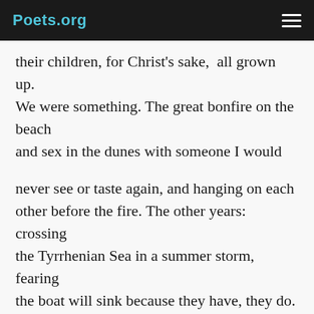Poets.org
their children, for Christ's sake,  all grown up.
We were something. The great bonfire on the beach
and sex in the dunes with someone I would
never see or taste again, and hanging on each
other before the fire. The other years: crossing
the Tyrrhenian Sea in a summer storm, fearing
the boat will sink because they have, they do.
Below decks everyone pukes and prays to Dio,
Deo, Allah, so I go above and lash my sleeping
bag to the deck rail and wedged between